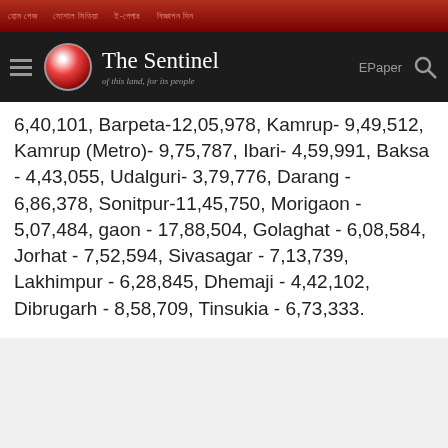The Sentinel - of this land, for its people
6,40,101, Barpeta-12,05,978, Kamrup- 9,49,512, Kamrup (Metro)- 9,75,787, Ibari- 4,59,991, Baksa - 4,43,055, Udalguri- 3,79,776, Darang - 6,86,378, Sonitpur-11,45,750, Morigaon - 5,07,484, gaon - 17,88,504, Golaghat - 6,08,584, Jorhat - 7,52,594, Sivasagar - 7,13,739, Lakhimpur - 6,28,845, Dhemaji - 4,42,102, Dibrugarh - 8,58,709, Tinsukia - 6,73,333.